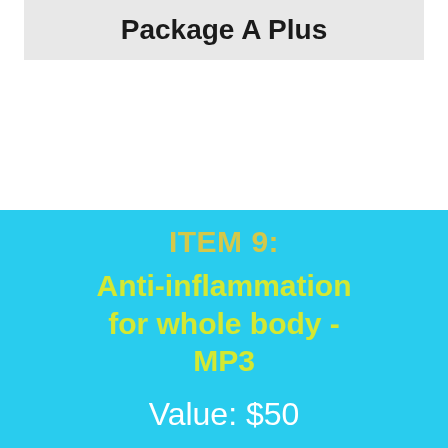Package A Plus
ITEM 9: Anti-inflammation for whole body - MP3
Value: $50